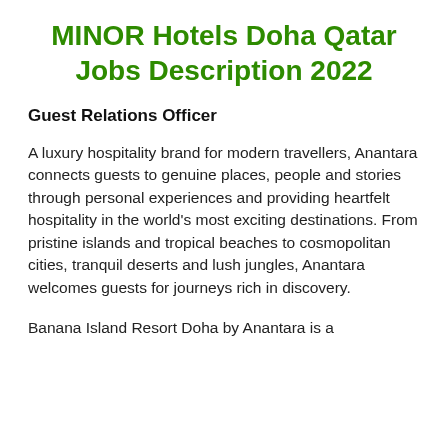MINOR Hotels Doha Qatar Jobs Description 2022
Guest Relations Officer
A luxury hospitality brand for modern travellers, Anantara connects guests to genuine places, people and stories through personal experiences and providing heartfelt hospitality in the world’s most exciting destinations. From pristine islands and tropical beaches to cosmopolitan cities, tranquil deserts and lush jungles, Anantara welcomes guests for journeys rich in discovery.
Banana Island Resort Doha by Anantara is a